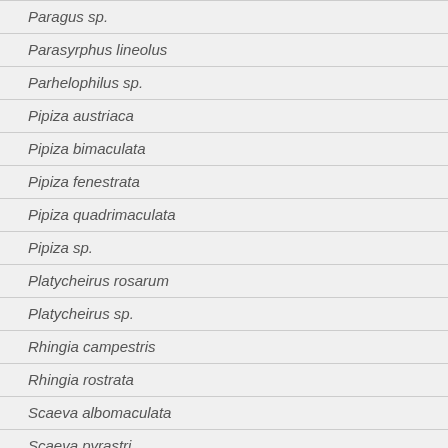Paragus sp.
Parasyrphus lineolus
Parhelophilus sp.
Pipiza austriaca
Pipiza bimaculata
Pipiza fenestrata
Pipiza quadrimaculata
Pipiza sp.
Platycheirus rosarum
Platycheirus sp.
Rhingia campestris
Rhingia rostrata
Scaeva albomaculata
Scaeva pyrastri
Scaeva selenitica